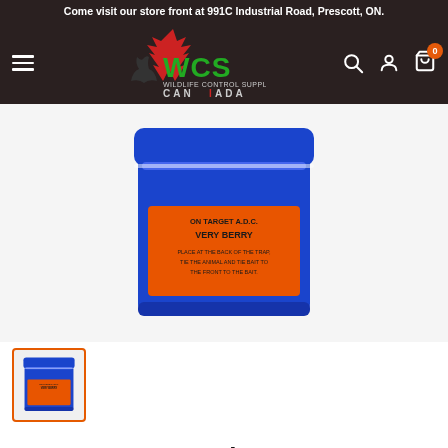Come visit our store front at 991C Industrial Road, Prescott, ON.
[Figure (logo): Wildlife Control Supplies Canada (WCS) logo with maple leaf and wolf silhouette on dark brown header background with navigation icons]
[Figure (photo): Blue cylindrical container with orange label reading ON TARGET A.D.C. VERY BERRY]
[Figure (photo): Thumbnail of same blue cylindrical container with orange label]
Very Berry Loganberry - 6oz